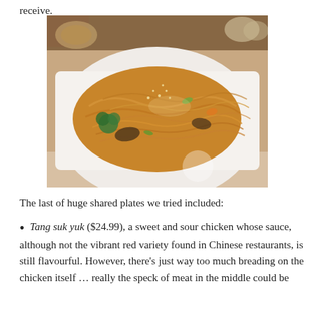receive.
[Figure (photo): A plate of stir-fried glass noodles with vegetables and meat on a white square plate, photographed at a restaurant table.]
The last of huge shared plates we tried included:
Tang suk yuk ($24.99), a sweet and sour chicken whose sauce, although not the vibrant red variety found in Chinese restaurants, is still flavourful. However, there's just way too much breading on the chicken itself ... really the speck of meat in the middle could be